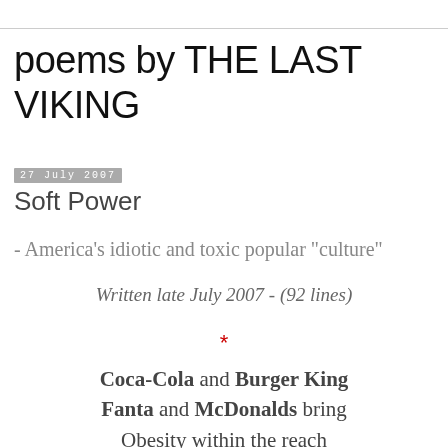poems by THE LAST VIKING
27 July 2007
Soft Power
- America's idiotic and toxic popular "culture"
Written late July 2007 - (92 lines)
*
Coca-Cola and Burger King
Fanta and McDonalds bring
Obesity within the reach